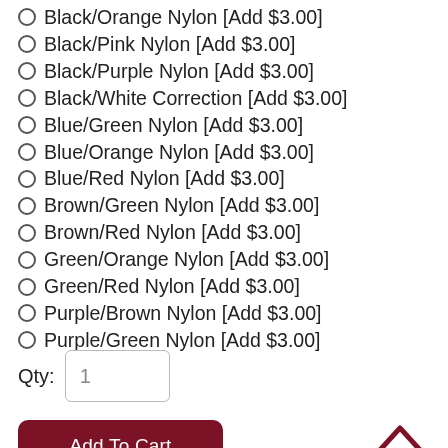Black/Orange Nylon [Add $3.00]
Black/Pink Nylon [Add $3.00]
Black/Purple Nylon [Add $3.00]
Black/White Correction [Add $3.00]
Blue/Green Nylon [Add $3.00]
Blue/Orange Nylon [Add $3.00]
Blue/Red Nylon [Add $3.00]
Brown/Green Nylon [Add $3.00]
Brown/Red Nylon [Add $3.00]
Green/Orange Nylon [Add $3.00]
Green/Red Nylon [Add $3.00]
Purple/Brown Nylon [Add $3.00]
Purple/Green Nylon [Add $3.00]
Qty: 1
Add To Cart